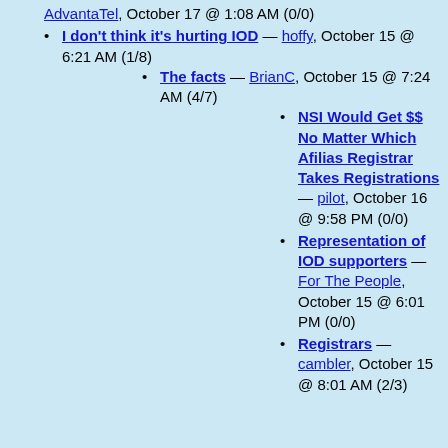AdvantaTel, October 17 @ 1:08 AM (0/0)
I don't think it's hurting IOD — hoffy, October 15 @ 6:21 AM (1/8)
The facts — BrianC, October 15 @ 7:24 AM (4/7)
NSI Would Get $$ No Matter Which Afilias Registrar Takes Registrations — pilot, October 16 @ 9:58 PM (0/0)
Representation of IOD supporters — For The People, October 15 @ 6:01 PM (0/0)
Registrars — cambler, October 15 @ 8:01 AM (2/3)
Why a new RRP now?◆ It needs to be defined BEFORE a new Registry is proposed to use it. — mikel5, October 26 @ 2:24 PM (0/0)
Thanks — BrianC, October 15 @ 8:09 AM (1/1)
Testing RRP —